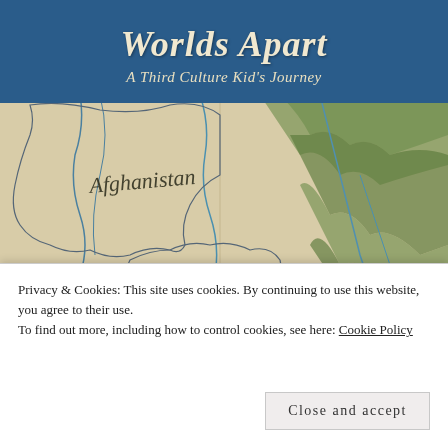Worlds Apart
A Third Culture Kid's Journey
[Figure (map): Vintage map showing Afghanistan, Pakistan, and India regions with terrain, rivers, and vegetation illustrated in old cartographic style with green forested areas and blue water features.]
Privacy & Cookies: This site uses cookies. By continuing to use this website, you agree to their use.
To find out more, including how to control cookies, see here: Cookie Policy
Close and accept
Ambassador Akbar Ahmed, American University